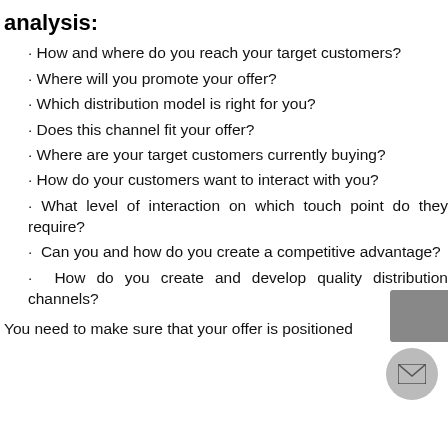analysis:
How and where do you reach your target customers?
Where will you promote your offer?
Which distribution model is right for you?
Does this channel fit your offer?
Where are your target customers currently buying?
How do your customers want to interact with you?
What level of interaction on which touch point do they require?
Can you and how do you create a competitive advantage?
How do you create and develop quality distribution channels?
You need to make sure that your offer is positioned